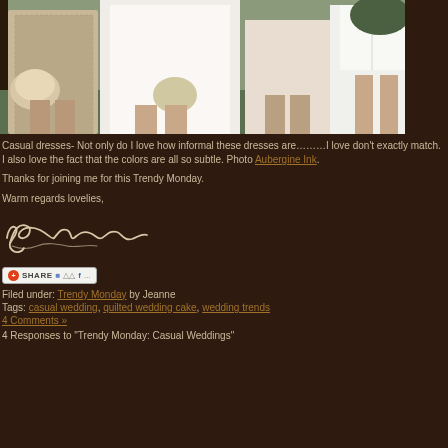[Figure (photo): Wedding photo showing bridesmaids and bride from waist down, holding bouquets, wearing casual dresses in white and neutral tones against a dark brown background]
Casual dresses- Not only do I love how informal these dresses are………I love don't exactly match. I also love the fact that the colors are all so subtle. Photo Aubergine Ink.
Thanks for joining me for this Trendy Monday.
Warm regards lovelies,
[Figure (illustration): Handwritten cursive signature]
[Figure (other): Share button with social media icons including Delicious, Digg, and Facebook]
Filed under: Trendy Monday by Jeanne
Tags: casual wedding, quilted wedding cake, wedding trends
4 Comments »
4 Responses to "Trendy Monday: Casual Weddings"